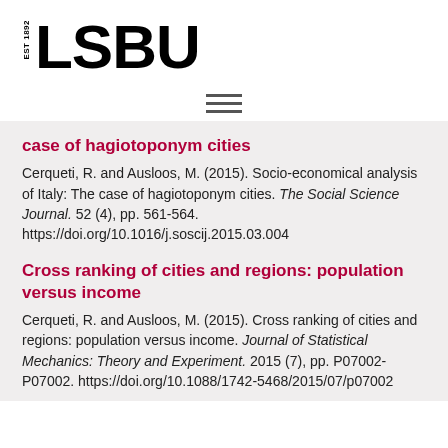EST 1892 LSBU
case of hagiotoponym cities
Cerqueti, R. and Ausloos, M. (2015). Socio-economical analysis of Italy: The case of hagiotoponym cities. The Social Science Journal. 52 (4), pp. 561-564. https://doi.org/10.1016/j.soscij.2015.03.004
Cross ranking of cities and regions: population versus income
Cerqueti, R. and Ausloos, M. (2015). Cross ranking of cities and regions: population versus income. Journal of Statistical Mechanics: Theory and Experiment. 2015 (7), pp. P07002-P07002. https://doi.org/10.1088/1742-5468/2015/07/p07002